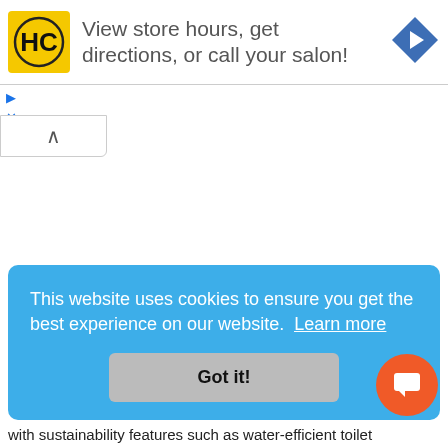[Figure (screenshot): Advertisement banner for a hair care salon locator. Features yellow HC logo, text 'View store hours, get directions, or call your salon!', and a blue navigation arrow icon.]
[Figure (screenshot): UI collapse tab with an upward caret arrow button.]
This website uses cookies to ensure you get the best experience on our website. Learn more
Got it!
with sustainability features such as water-efficient toilet